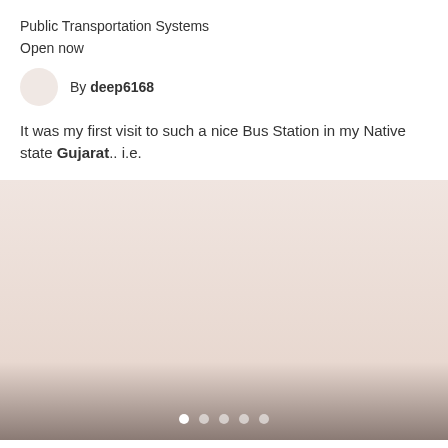Public Transportation Systems
Open now
By deep6168
It was my first visit to such a nice Bus Station in my Native state Gujarat.. i.e.
[Figure (photo): A faded pinkish-beige image area with a gradient fading to dark grey at the bottom, with five pagination dots at the bottom center (first dot white/active, rest semi-transparent).]
4. Inorbit Mall Vadodara
278